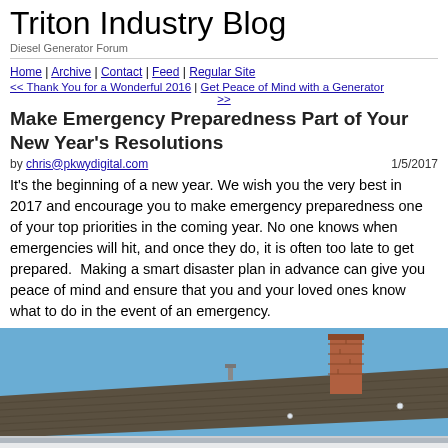Triton Industry Blog
Diesel Generator Forum
Home | Archive | Contact | Feed | Regular Site
<< Thank You for a Wonderful 2016 | Get Peace of Mind with a Generator >>
Make Emergency Preparedness Part of Your New Year's Resolutions
by chris@pkwydigital.com   1/5/2017
It’s the beginning of a new year. We wish you the very best in 2017 and encourage you to make emergency preparedness one of your top priorities in the coming year. No one knows when emergencies will hit, and once they do, it is often too late to get prepared.  Making a smart disaster plan in advance can give you peace of mind and ensure that you and your loved ones know what to do in the event of an emergency.
[Figure (photo): Rooftop of a house against a blue sky, with a brick chimney visible]